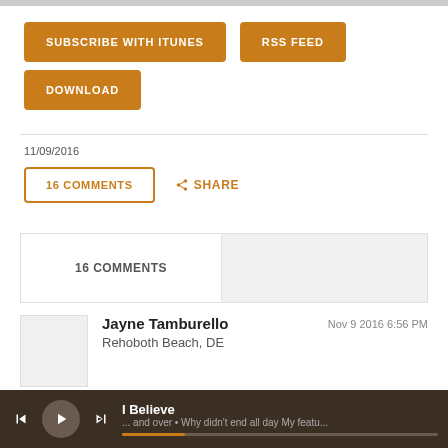SUBSCRIBE WITH ITUNES
RSS FEED
DOWNLOAD
11/09/2016
16 COMMENTS
SHARE
16 COMMENTS
Jayne Tamburello
Rehoboth Beach, DE
Nov 9 2016 6:56 PM
I Believe